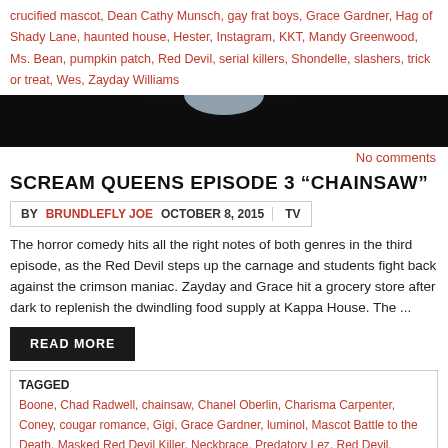crucified mascot, Dean Cathy Munsch, gay frat boys, Grace Gardner, Hag of Shady Lane, haunted house, Hester, Instagram, KKT, Mandy Greenwood, Ms. Bean, pumpkin patch, Red Devil, serial killers, Shondelle, slashers, trick or treat, Wes, Zayday Williams
[Figure (photo): Dark banner with blue-white light glow in center on black background]
No comments
SCREAM QUEENS EPISODE 3 “CHAINSAW”
BY BRUNDLEFLY JOE   OCTOBER 8, 2015   TV
The horror comedy hits all the right notes of both genres in the third episode, as the Red Devil steps up the carnage and students fight back against the crimson maniac. Zayday and Grace hit a grocery store after dark to replenish the dwindling food supply at Kappa House. The ...
READ MORE
TAGGED Boone, Chad Radwell, chainsaw, Chanel Oberlin, Charisma Carpenter, Coney, cougar romance, Gigi, Grace Gardner, luminol, Mascot Battle to the Death, Masked Red Devil Killer, Neckbrace, Predatory Lez, Red Devil, Scream Queens, serial killers, Zayday Williams
[Figure (photo): Red theater seats banner at bottom of page]
2
WILL SLASHER TV SHOW SCREAM QUEENS REIGN